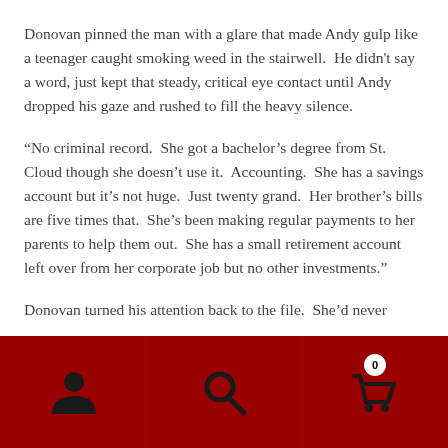Donovan pinned the man with a glare that made Andy gulp like a teenager caught smoking weed in the stairwell.  He didn't say a word, just kept that steady, critical eye contact until Andy dropped his gaze and rushed to fill the heavy silence.
“No criminal record.  She got a bachelor’s degree from St. Cloud though she doesn’t use it.  Accounting.  She has a savings account but it’s not huge.  Just twenty grand.  Her brother’s bills are five times that.  She’s been making regular payments to her parents to help them out.  She has a small retirement account left over from her corporate job but no other investments.”
Donovan turned his attention back to the file.  She’d never